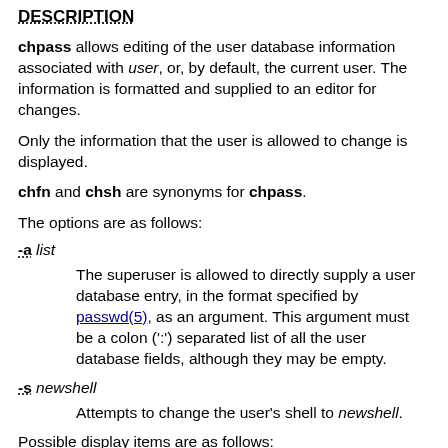DESCRIPTION
chpass allows editing of the user database information associated with user, or, by default, the current user. The information is formatted and supplied to an editor for changes.
Only the information that the user is allowed to change is displayed.
chfn and chsh are synonyms for chpass.
The options are as follows:
-a list
The superuser is allowed to directly supply a user database entry, in the format specified by passwd(5), as an argument. This argument must be a colon (':') separated list of all the user database fields, although they may be empty.
-s newshell
Attempts to change the user's shell to newshell.
Possible display items are as follows:
Login:
    user's login name
Password: